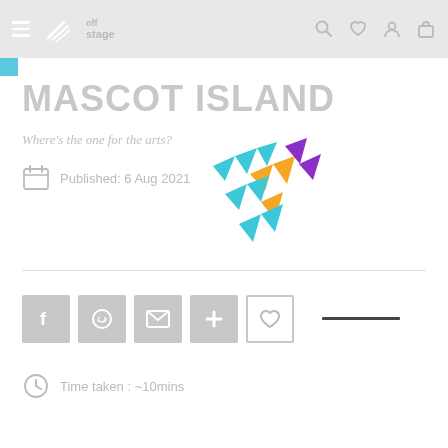Off Stage navigation bar with hamburger menu, logo, search, wishlist, account, and cart icons
MASCOT ISLAND
Where's the one for the arts?
Published: 6 Aug 2021
[Figure (logo): Off Stage colourful geometric bird/arrow logo made of triangles in teal, orange, and purple]
[Figure (other): Social share buttons: Facebook, WhatsApp, Email, Plus, Heart/Wishlist, and a dash/minus element]
Time taken : ~10mins